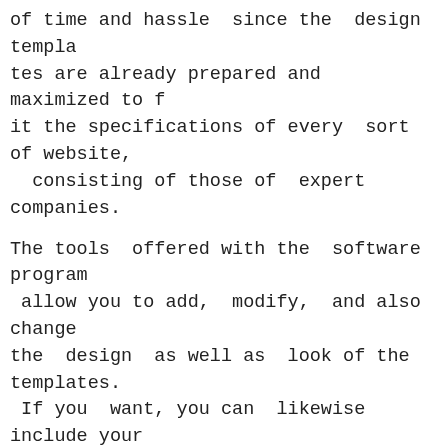of time and hassle since the design templates are already prepared and maximized to fit the specifications of every sort of website, consisting of those of expert companies.
The tools offered with the software program allow you to add, modify, and also change the design as well as look of the templates. If you want, you can likewise include your own graphics, logo designs, and also texts.
An additional crucial attribute of builderall that makes it so popular among company owner is its easy to use page builder. This handy tool allows you to rapidly develop a web site for your internet site without recognizing any type of shows or HTML code.